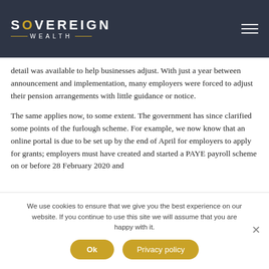SOVEREIGN WEALTH
detail was available to help businesses adjust. With just a year between announcement and implementation, many employers were forced to adjust their pension arrangements with little guidance or notice.
The same applies now, to some extent. The government has since clarified some points of the furlough scheme. For example, we now know that an online portal is due to be set up by the end of April for employers to apply for grants; employers must have created and started a PAYE payroll scheme on or before 28 February 2020 and
We use cookies to ensure that we give you the best experience on our website. If you continue to use this site we will assume that you are happy with it.